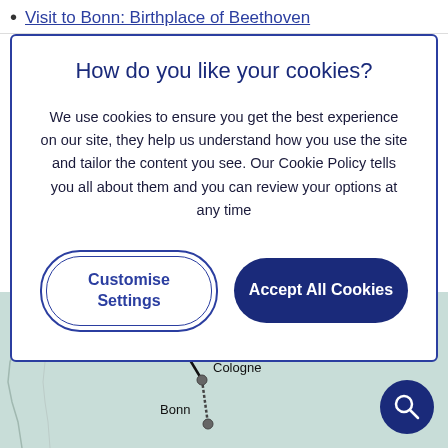Visit to Bonn: Birthplace of Beethoven
How do you like your cookies?
We use cookies to ensure you get the best experience on our site, they help us understand how you use the site and tailor the content you see. Our Cookie Policy tells you all about them and you can review your options at any time
Customise Settings
Accept All Cookies
[Figure (map): Partial map of western Germany showing cities Dusseldorf, Cologne, and Bonn connected by a route line. 'GERMANY' label visible top right. Dark blue circular search button bottom right.]